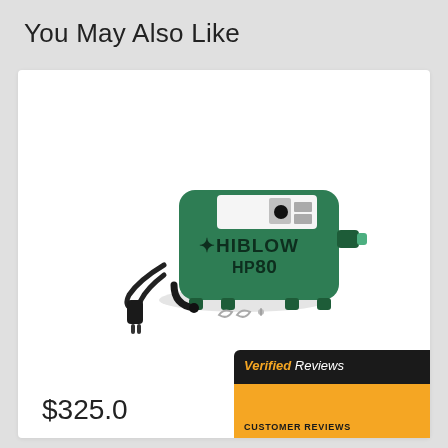You May Also Like
[Figure (photo): Hiblow HP80 linear air pump/compressor in green color, shown with power cord, elbow fitting, and mounting hardware accessories]
$325.0
[Figure (infographic): Verified Reviews badge showing CUSTOMER REVIEWS with 4.9/5 star rating (5 orange stars)]